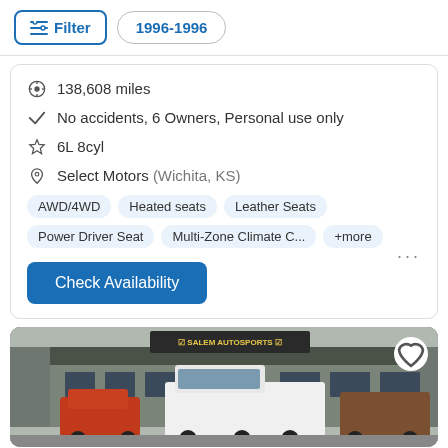Filter | 1996-1996
138,608 miles
No accidents, 6 Owners, Personal use only
6L 8cyl
Select Motors (Wichita, KS)
AWD/4WD   Heated seats   Leather Seats   Power Driver Seat   Multi-Zone Climate C...   +more
Check Availability
[Figure (photo): Exterior photo of a white pickup truck in front of Salem Autosports dealership with other vehicles visible in the lot.]